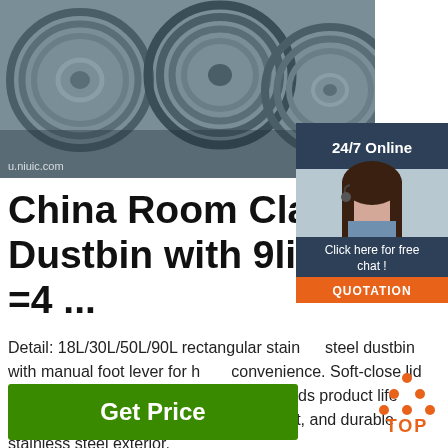[Figure (photo): Photo of metal wire rod coils stacked, industrial steel wire product]
China Room Classified Dustbin with 9liter X 2F =4 ...
Detail: 18L/30L/50L/90L rectangular stainless steel dustbin with manual foot lever for hand convenience. Soft-close lid reduces noise during opening/closing and extends product life span. Fingerprint-proof, smudge resistant, and durable stainless steel exterior.
[Figure (photo): 24/7 Online chat widget with female customer service representative wearing headset, with Click here for free chat and QUOTATION button]
Get Price